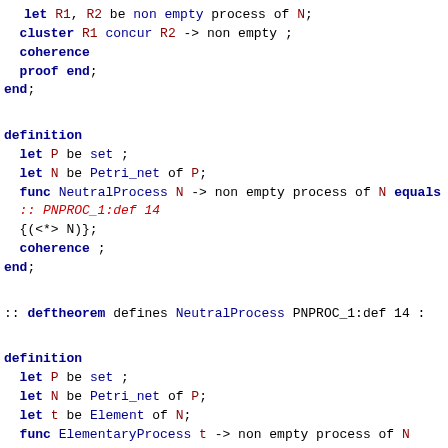let R1, R2 be non empty process of N;
cluster R1 concur R2 -> non empty ;
coherence
proof end;
end;
definition
  let P be set ;
  let N be Petri_net of P;
  func NeutralProcess N -> non empty process of N equals
  :: PNPROC_1:def 14
  {(<*> N)};
  coherence ;
end;
:: deftheorem defines NeutralProcess PNPROC_1:def 14 :
definition
  let P be set ;
  let N be Petri_net of P;
  let t be Element of N;
  func ElementaryProcess t -> non empty process of N
  equals :: PNPROC_1:def 15
  {<*t*>};
  coherence ;
end;
:: deftheorem defines ElementaryProcess PNPROC_1:def 15 :
theorem :: PNPROC_1:43